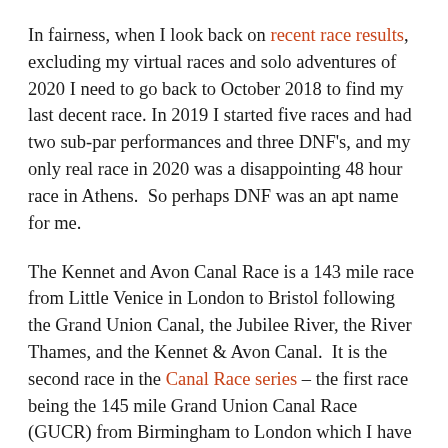In fairness, when I look back on recent race results, excluding my virtual races and solo adventures of 2020 I need to go back to October 2018 to find my last decent race. In 2019 I started five races and had two sub-par performances and three DNF's, and my only real race in 2020 was a disappointing 48 hour race in Athens.  So perhaps DNF was an apt name for me.
The Kennet and Avon Canal Race is a 143 mile race from Little Venice in London to Bristol following the Grand Union Canal, the Jubilee River, the River Thames, and the Kennet & Avon Canal.  It is the second race in the Canal Race series – the first race being the 145 mile Grand Union Canal Race (GUCR) from Birmingham to London which I have completed in three times previously, and the third race being the 130 mile Liverpool to Leeds Canal Race (LLCR) which I have yet to participate in.